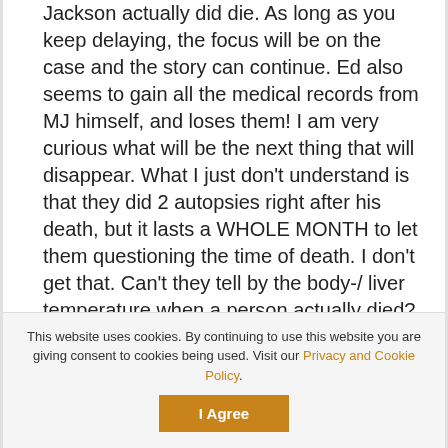Jackson actually did die. As long as you keep delaying, the focus will be on the case and the story can continue. Ed also seems to gain all the medical records from MJ himself, and loses them! I am very curious what will be the next thing that will disappear. What I just don't understand is that they did 2 autopsies right after his death, but it lasts a WHOLE MONTH to let them questioning the time of death. I don't get that. Can't they tell by the body-/ liver temperature when a person actually died? If they pronounced him dead at 2.26 and he really would have died before 9.30, wouldn't his body temp be a few degrees lower? So why work on him for an hour?
This website uses cookies. By continuing to use this website you are giving consent to cookies being used. Visit our Privacy and Cookie Policy.